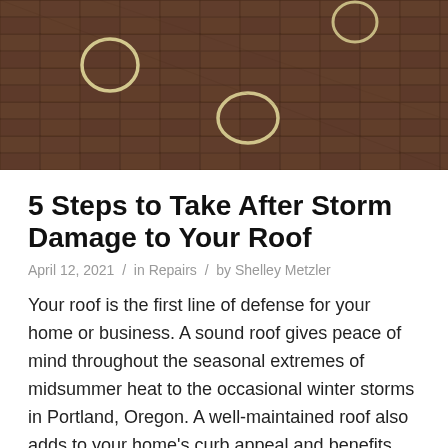[Figure (photo): Close-up photo of dark brown/grey roof shingles with chalk circle markings indicating hail damage spots]
5 Steps to Take After Storm Damage to Your Roof
April 12, 2021 / in Repairs / by Shelley Metzler
Your roof is the first line of defense for your home or business. A sound roof gives peace of mind throughout the seasonal extremes of midsummer heat to the occasional winter storms in Portland, Oregon. A well-maintained roof also adds to your home’s curb appeal and benefits your property